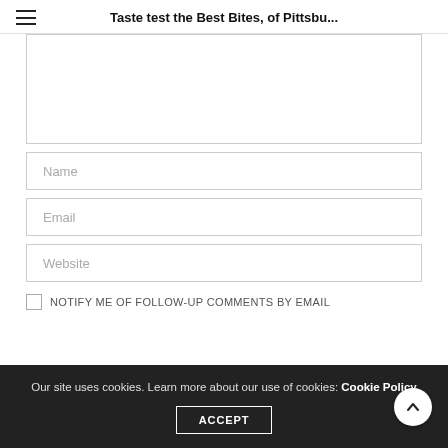Taste test the Best Bites, of Pittsbu...
[Figure (screenshot): Form fields: empty textarea, Name input, Email input, Website input, and a checkbox row with partially visible label text. Below is a cookie consent banner with ACCEPT button and scroll-to-top arrow button.]
Our site uses cookies. Learn more about our use of cookies: Cookie Policy
ACCEPT